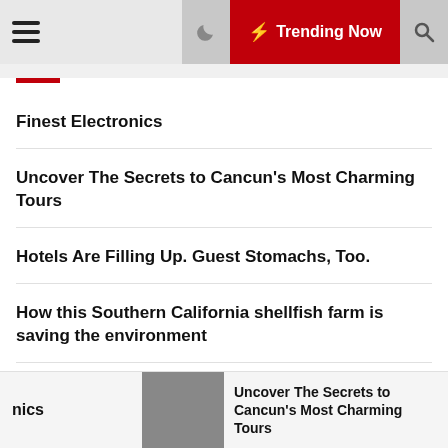Trending Now
Finest Electronics
Uncover The Secrets to Cancun's Most Charming Tours
Hotels Are Filling Up. Guest Stomachs, Too.
How this Southern California shellfish farm is saving the environment
Airlines scale back ambitions after chasing the travel rebound
nics | Uncover The Secrets to Cancun's Most Charming Tours